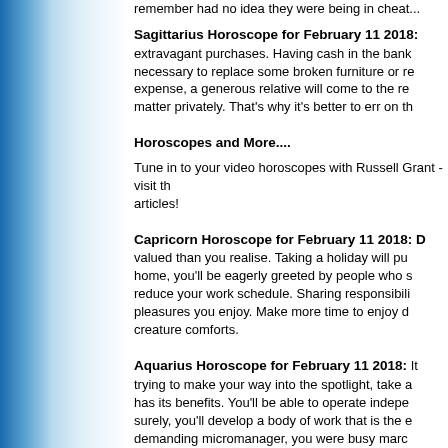remember had no idea they were being in cheat...
Sagittarius Horoscope for February 11 2018:
extravagant purchases. Having cash in the bank is necessary to replace some broken furniture or r... expense, a generous relative will come to the re... matter privately. That's why it's better to err on th...
Horoscopes and More....
Tune in to your video horoscopes with Russell Grant - visit th... articles!
Capricorn Horoscope for February 11 2018:
valued than you realise. Taking a holiday will pu... home, you'll be eagerly greeted by people who s... reduce your work schedule. Sharing responsibili... pleasures you enjoy. Make more time to enjoy d... creature comforts.
Aquarius Horoscope for February 11 2018:
trying to make your way into the spotlight, take a... has its benefits. You'll be able to operate indepe... surely, you'll develop a body of work that is the e... demanding micromanager, you were busy marc...